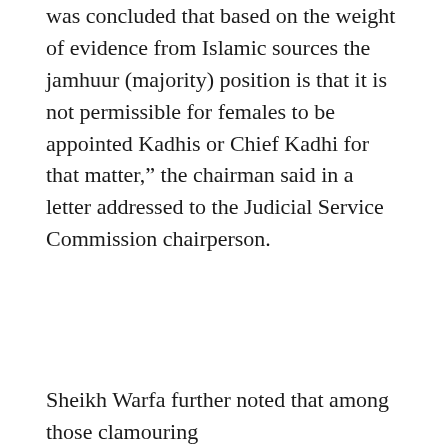was concluded that based on the weight of evidence from Islamic sources the jamhuur (majority) position is that it is not permissible for females to be appointed Kadhis or Chief Kadhi for that matter," the chairman said in a letter addressed to the Judicial Service Commission chairperson.
Sheikh Warfa further noted that among those clamouring